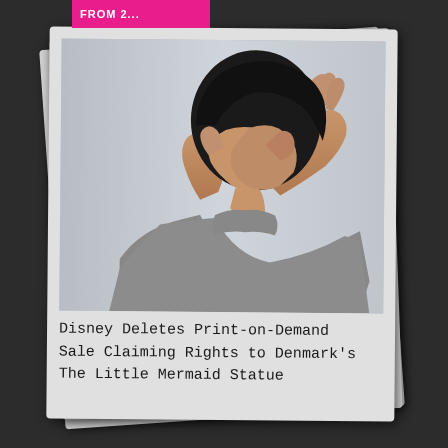FROM 2...
[Figure (photo): A man in a gray t-shirt burying his face in his hands, photographed against a light gray background. The image is presented as a Polaroid-style photograph.]
Disney Deletes Print-on-Demand Sale Claiming Rights to Denmark's The Little Mermaid Statue